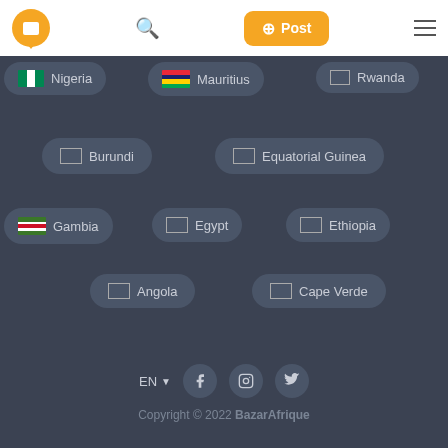[Figure (screenshot): App header with logo, search icon, Post button, and hamburger menu]
Nigeria
Mauritius
Rwanda
Burundi
Equatorial Guinea
Gambia
Egypt
Ethiopia
Angola
Cape Verde
EN  Copyright © 2022 BazarAfrique